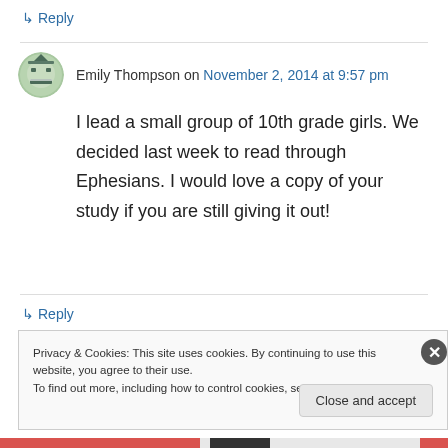↳ Reply
Emily Thompson on November 2, 2014 at 9:57 pm
I lead a small group of 10th grade girls. We decided last week to read through Ephesians. I would love a copy of your study if you are still giving it out!
↳ Reply
Privacy & Cookies: This site uses cookies. By continuing to use this website, you agree to their use.
To find out more, including how to control cookies, see here: Cookie Policy